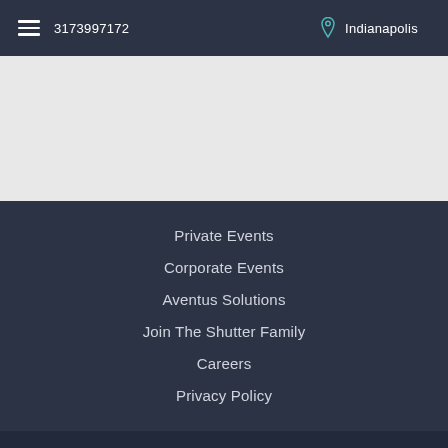3173997172  Indianapolis
Private Events
Corporate Events
Aventus Solutions
Join The Shutter Family
Careers
Privacy Policy